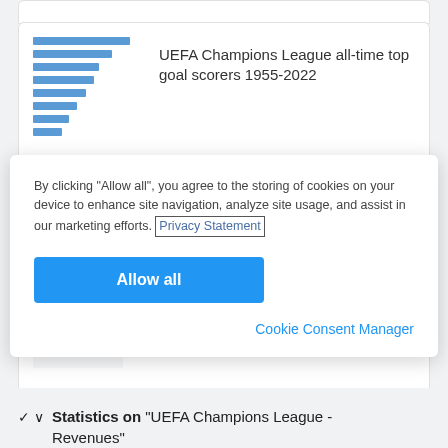[Figure (screenshot): Partial view of a card showing a bar chart preview thumbnail]
UEFA Champions League all-time top goal scorers 1955-2022
By clicking "Allow all", you agree to the storing of cookies on your device to enhance site navigation, analyze site usage, and assist in our marketing efforts. Privacy Statement
Allow all
Cookie Consent Manager
...more goals as of 2022, by player
Statistics on "UEFA Champions League - Revenues"